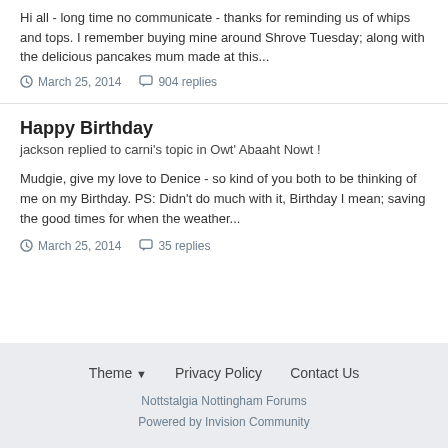Hi all - long time no communicate - thanks for reminding us of whips and tops. I remember buying mine around Shrove Tuesday; along with the delicious pancakes mum made at this...
March 25, 2014   904 replies
Happy Birthday
jackson replied to carni's topic in Owt' Abaaht Nowt !
Mudgie, give my love to Denice - so kind of you both to be thinking of me on my Birthday. PS: Didn't do much with it, Birthday I mean; saving the good times for when the weather...
March 25, 2014   35 replies
Theme  Privacy Policy  Contact Us
Nottstalgia Nottingham Forums
Powered by Invision Community